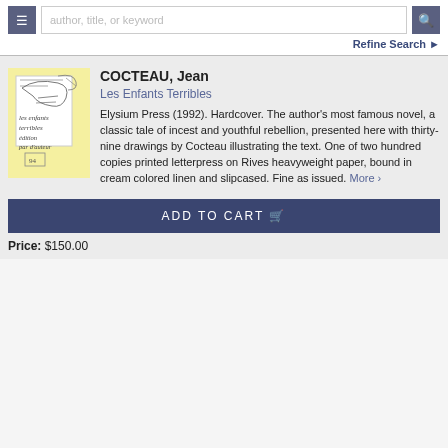author, title, or keyword | Refine Search
[Figure (illustration): Thumbnail sketch of book cover for Les Enfants Terribles with handwritten French text and line drawings]
COCTEAU, Jean
Les Enfants Terribles
Elysium Press (1992). Hardcover. The author's most famous novel, a classic tale of incest and youthful rebellion, presented here with thirty-nine drawings by Cocteau illustrating the text. One of two hundred copies printed letterpress on Rives heavyweight paper, bound in cream colored linen and slipcased. Fine as issued. More ›
ADD TO CART
Price: $150.00